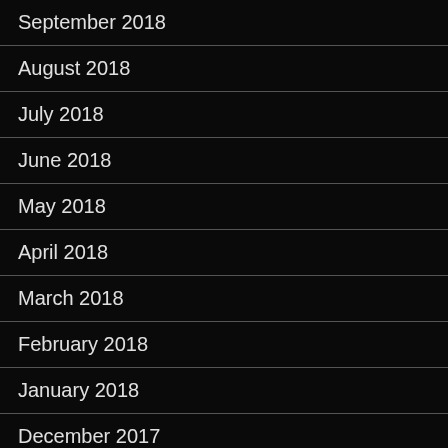September 2018
August 2018
July 2018
June 2018
May 2018
April 2018
March 2018
February 2018
January 2018
December 2017
November 2017
October 2017
September 2017